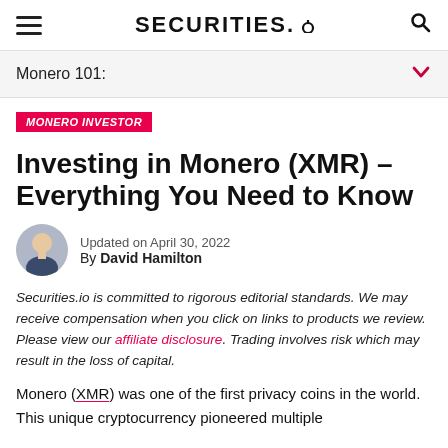SECURITIES.IO
Monero 101:
MONERO INVESTOR
Investing in Monero (XMR) – Everything You Need to Know
Updated on April 30, 2022
By David Hamilton
Securities.io is committed to rigorous editorial standards. We may receive compensation when you click on links to products we review. Please view our affiliate disclosure. Trading involves risk which may result in the loss of capital.
Monero (XMR) was one of the first privacy coins in the world. This unique cryptocurrency pioneered multiple